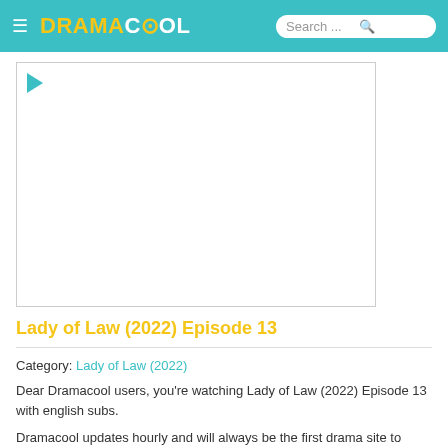DRAMACOOL — Search...
[Figure (screenshot): Video player area with a play button icon in the top-left corner, white background with a thin gray border]
Lady of Law (2022) Episode 13
Category: Lady of Law (2022)
Dear Dramacool users, you're watching Lady of Law (2022) Episode 13 with english subs.
Dramacool updates hourly and will always be the first drama site to release the latest episode of Lady of Law (2022). Please reload the page if any...